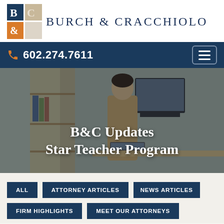[Figure (logo): Burch & Cracchiolo law firm logo with stylized B&C letters in navy, orange, and tan squares]
Burch & Cracchiolo
602.274.7611
[Figure (photo): Man in tan suit working at a standing desk with laptop and dual monitors, bookshelf in background, city view through window]
B&C Updates Star Teacher Program
ALL
ATTORNEY ARTICLES
NEWS ARTICLES
FIRM HIGHLIGHTS
MEET OUR ATTORNEYS